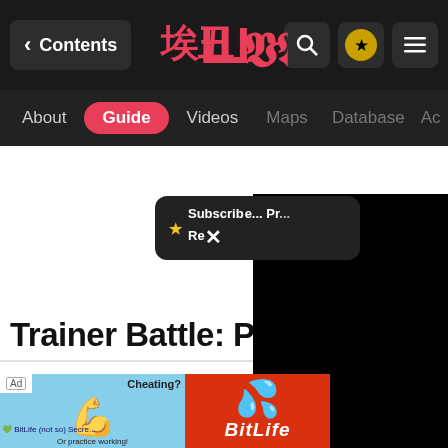Contents | [Logo] | Search | Star | Menu
About | Guide | Videos | Maps | Database | Ac...
[Figure (screenshot): Subscribe popup overlay with star icon and close X button, partially covering page content]
Trainer Battle: Pa
Poke...
Leve...
[Figure (screenshot): Ad banner showing two ads: left is blue with arm/muscle cheating ad for BitLife, right is red with BitLife logo]